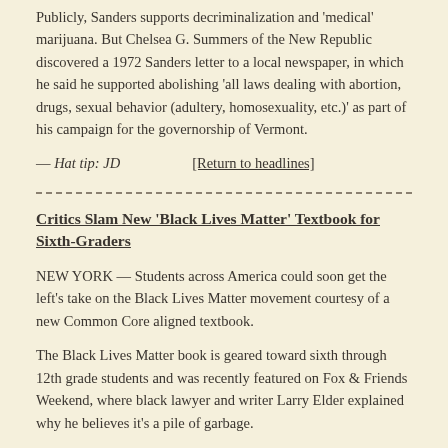Publicly, Sanders supports decriminalization and 'medical' marijuana. But Chelsea G. Summers of the New Republic discovered a 1972 Sanders letter to a local newspaper, in which he said he supported abolishing 'all laws dealing with abortion, drugs, sexual behavior (adultery, homosexuality, etc.)' as part of his campaign for the governorship of Vermont.
— Hat tip: JD    [Return to headlines]
Critics Slam New 'Black Lives Matter' Textbook for Sixth-Graders
NEW YORK — Students across America could soon get the left's take on the Black Lives Matter movement courtesy of a new Common Core aligned textbook.
The Black Lives Matter book is geared toward sixth through 12th grade students and was recently featured on Fox & Friends Weekend, where black lawyer and writer Larry Elder explained why he believes it's a pile of garbage.